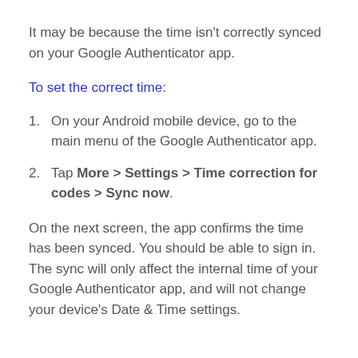It may be because the time isn't correctly synced on your Google Authenticator app.
To set the correct time:
On your Android mobile device, go to the main menu of the Google Authenticator app.
Tap More > Settings > Time correction for codes > Sync now.
On the next screen, the app confirms the time has been synced. You should be able to sign in. The sync will only affect the internal time of your Google Authenticator app, and will not change your device's Date & Time settings.